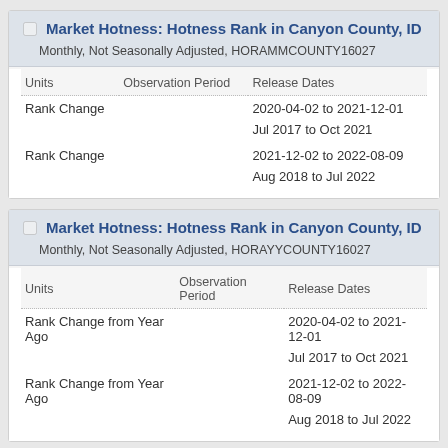| Units | Observation Period | Release Dates |
| --- | --- | --- |
| Rank Change |  | 2020-04-02 to 2021-12-01 |
|  |  | Jul 2017 to Oct 2021 |
| Rank Change |  | 2021-12-02 to 2022-08-09 |
|  |  | Aug 2018 to Jul 2022 |
| Units | Observation Period | Release Dates |
| --- | --- | --- |
| Rank Change from Year Ago |  | 2020-04-02 to 2021-12-01 |
|  |  | Jul 2017 to Oct 2021 |
| Rank Change from Year Ago |  | 2021-12-02 to 2022-08-09 |
|  |  | Aug 2018 to Jul 2022 |
Homeownership Rate (5-year estimate) for...